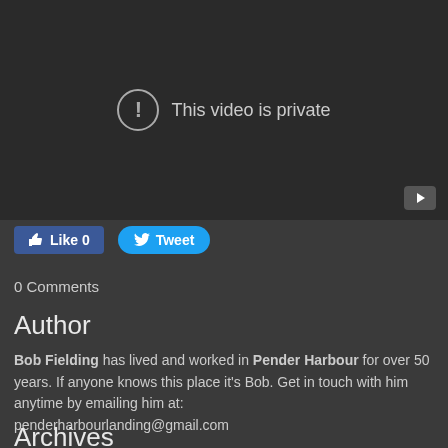[Figure (screenshot): Video player showing 'This video is private' message with exclamation mark icon and YouTube icon in bottom right corner]
[Figure (screenshot): Facebook Like button showing 'Like 0' and Twitter Tweet button]
0 Comments
Author
Bob Fielding has lived and worked in Pender Harbour for over 50 years. If anyone knows this place it's Bob. Get in touch with him anytime by emailing him at: penderharbourlanding@gmail.com
Archives